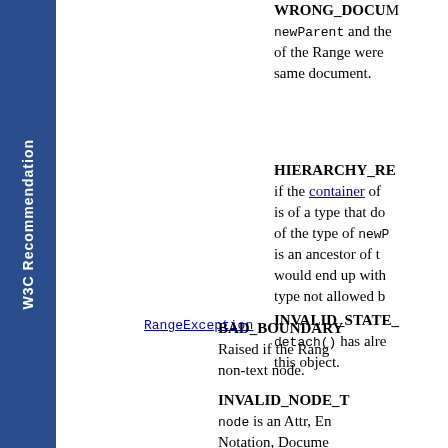W3C Recommendation
WRONG_DOCUMENT_ERR: Raised if newParent and the boundary-points of the Range were not created from the same document.
HIERARCHY_REQUEST_ERR: Raised if the container of the start of the Range is of a type that does not allow children of the type of newParent or if newParent is an ancestor of the container or if the operation would end up with a node being inserted that is of a type not allowed by the type of its new parent.
INVALID_STATE_ERR: Raised if detach() has already been invoked on this object.
RangeException BAD_BOUNDARY_POINTS_ERR: Raised if the Range contains a non-text node.
INVALID_NODE_TYPE_ERR: Raised if node is an Attr, Entity, Notation, DocumentType, Document, or DocumentFragment node.